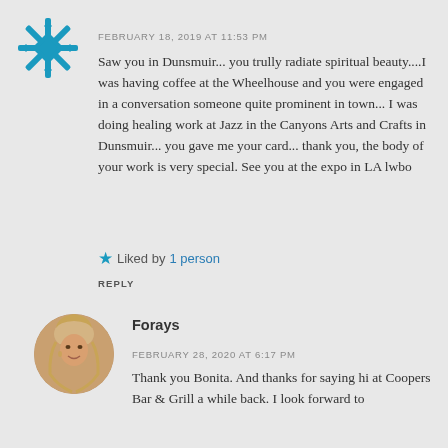[Figure (illustration): Teal/green decorative snowflake or quilt-pattern avatar icon]
FEBRUARY 18, 2019 AT 11:53 PM
Saw you in Dunsmuir... you trully radiate spiritual beauty....I was having coffee at the Wheelhouse and you were engaged in a conversation someone quite prominent in town... I was doing healing work at Jazz in the Canyons Arts and Crafts in Dunsmuir... you gave me your card... thank you, the body of your work is very special. See you at the expo in LA lwbo
Liked by 1 person
REPLY
[Figure (photo): Circular profile photo of a woman with long blonde/light hair, smiling]
Forays
FEBRUARY 28, 2020 AT 6:17 PM
Thank you Bonita. And thanks for saying hi at Coopers Bar & Grill a while back. I look forward to